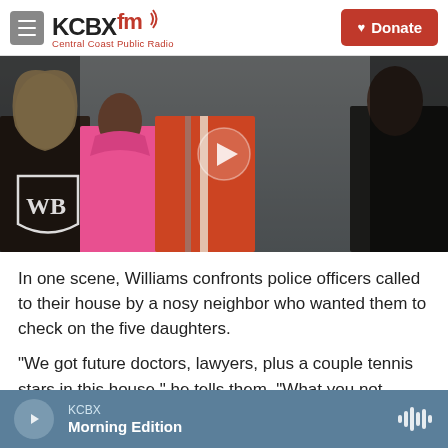KCBX FM — Central Coast Public Radio | Donate
[Figure (screenshot): Video thumbnail showing people at a doorway, with a Warner Bros. (WB) shield logo in the lower left and a play button overlay in the center. Dark cinematic scene with colorful jackets.]
In one scene, Williams confronts police officers called to their house by a nosy neighbor who wanted them to check on the five daughters.
"We got future doctors, lawyers, plus a couple tennis stars in this house," he tells them. "What you not gonna never do is come knock on this door,
KCBX — Morning Edition